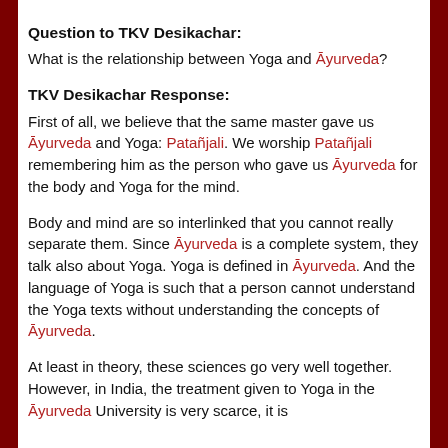Question to TKV Desikachar:
What is the relationship between Yoga and Āyurveda?
TKV Desikachar Response:
First of all, we believe that the same master gave us Āyurveda and Yoga: Patañjali. We worship Patañjali remembering him as the person who gave us Āyurveda for the body and Yoga for the mind.
Body and mind are so interlinked that you cannot really separate them. Since Āyurveda is a complete system, they talk also about Yoga. Yoga is defined in Āyurveda. And the language of Yoga is such that a person cannot understand the Yoga texts without understanding the concepts of Āyurveda.
At least in theory, these sciences go very well together. However, in India, the treatment given to Yoga in the Āyurveda University is very scarce, it is